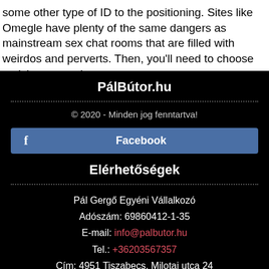some other type of ID to the positioning. Sites like Omegle have plenty of the same dangers as mainstream sex chat rooms that are filled with weirdos and perverts. Then, you'll need to choose a nickname and enter your age.
PálBútor.hu
© 2020 - Minden jog fenntartva!
f  Facebook
Elérhetőségek
Pál Gergő Egyéni Vállalkozó
Adószám: 69860412-1-35
E-mail: info@palbutor.hu
Tel.: +36203567357
Cím: 4951 Tiszabecs, Milotai utca 24